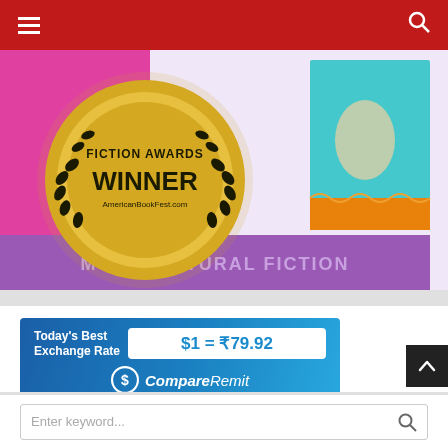[Figure (screenshot): Red navigation bar with hamburger menu icon on left and search icon on right]
[Figure (photo): Fiction Awards Winner badge from AmericanBookFest.com with laurel wreath on gold medal, beside a book cover showing multicultural fiction with Indian decorative motifs and text 'MULTICULTURAL FICTION' on purple banner]
[Figure (infographic): CompareRemit advertisement banner showing Today's Best Exchange Rate $1 = ₹79.92, with CompareRemit logo, dated 2022-08-20 PDT, T&C Applies]
[Figure (screenshot): Search bar with placeholder text 'Enter keyword...' and search button icon]